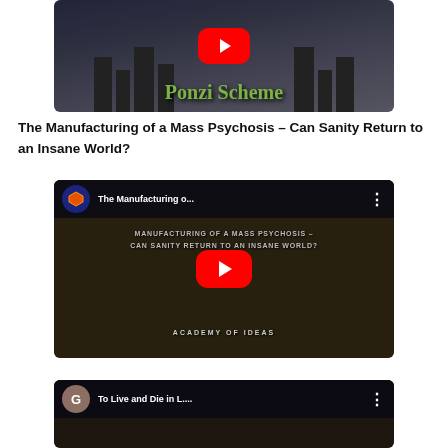[Figure (screenshot): YouTube video thumbnail showing 'The Great Flat Ponzi Scheme' with red play button on dark background]
The Manufacturing of a Mass Psychosis – Can Sanity Return to an Insane World?
[Figure (screenshot): YouTube video embed for 'The Manufacturing of...', channel icon with hexagon logo, red play button, text overlay 'MANUFACTURING OF A MASS PSYCHOSIS - CAN SANITY RETURN TO AN INSANE WORLD? ACADEMY OF IDEAS']
[Figure (screenshot): Partial YouTube video thumbnail for 'To Live and Die in L...', channel icon with 'G', dark background]